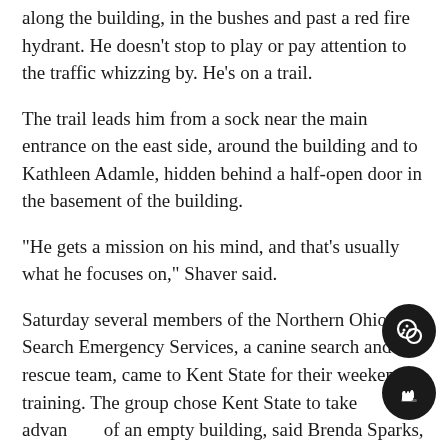along the building, in the bushes and past a red fire hydrant. He doesn't stop to play or pay attention to the traffic whizzing by. He's on a trail.
The trail leads him from a sock near the main entrance on the east side, around the building and to Kathleen Adamle, hidden behind a half-open door in the basement of the building.
“He gets a mission on his mind, and that’s usually what he focuses on,” Shaver said.
Saturday several members of the Northern Ohio Search Emergency Services, a canine search and rescue team, came to Kent State for their weekend training. The group chose Kent State to take advantage of an empty building, said Brenda Sparks, who has 15 years experience in search and rescue.
“Indoors it’s hard to find a facility (to train),” she said.